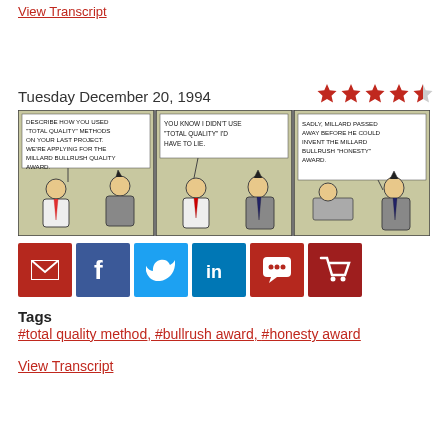View Transcript
Tuesday December 20, 1994
[Figure (illustration): Dilbert comic strip from Tuesday December 20, 1994 about 'total quality' methods and the Millard Bullrush Quality Award. Three panels showing Dilbert and his boss. Panel 1: 'Describe how you used "Total Quality" methods on your last project. We're applying for the Millard Bullrush Quality Award.' Panel 2: 'You know I didn't use "Total Quality" I'd have to lie.' Panel 3: 'Sadly, Millard passed away before he could invent the Millard Bullrush "Honesty" Award.']
[Figure (infographic): Social sharing buttons: email, Facebook, Twitter, LinkedIn, comment, cart]
Tags
#total quality method, #bullrush award, #honesty award
View Transcript